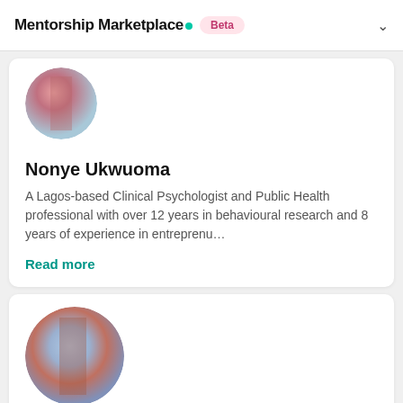Mentorship Marketplace. Beta
[Figure (photo): Blurred circular avatar photo of Nonye Ukwuoma with pink and teal gradient tones]
Nonye Ukwuoma
A Lagos-based Clinical Psychologist and Public Health professional with over 12 years in behavioural research and 8 years of experience in entreprenu…
Read more
[Figure (photo): Blurred circular avatar photo with blue and pink gradient tones]